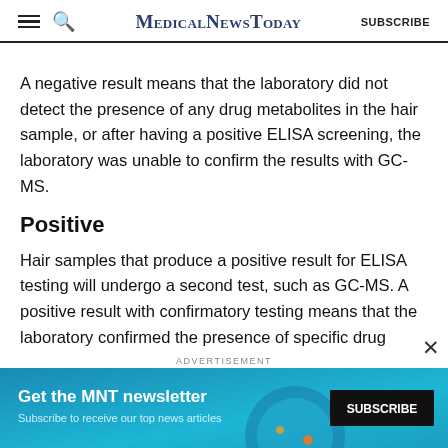MedicalNewsToday  SUBSCRIBE
A negative result means that the laboratory did not detect the presence of any drug metabolites in the hair sample, or after having a positive ELISA screening, the laboratory was unable to confirm the results with GC-MS.
Positive
Hair samples that produce a positive result for ELISA testing will undergo a second test, such as GC-MS. A positive result with confirmatory testing means that the laboratory confirmed the presence of specific drug
ADVERTISEMENT
Get the MNT newsletter — Subscribe to receive our top news articles — SUBSCRIBE